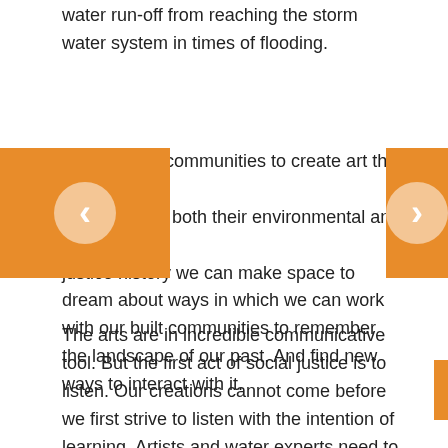water run-off from reaching the storm water system in times of flooding.
empowering communities to create art that allo connect with both their environmental and so justice history we can make space to dream about ways in which we can work with our built communities to remember the landscape of our past. And find new ways to interact with it.
The arts are in incredible communicative tool. But the first act of social justice is to listen. Our creations cannot come before we first strive to listen with the intention of learning. Artists and water experts need to engage in this process together. When the artist is involved in the process – not just brought in at the end to slap some paint on a wall, not just asked to develop the PR or marketing strategy, rather allowing the artist to be in response to this listening